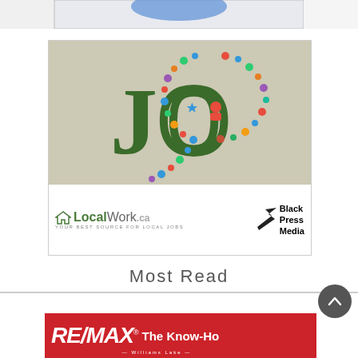[Figure (photo): Partial view of a blue item against a white/grey background, cropped at top of page]
[Figure (logo): LocalWork.ca advertisement with magnifying glass icon made of colorful social/job icons, large green JO letters, LocalWork.ca logo and tagline 'Your Best Source For Local Jobs', and Black Press Media logo]
Most Read
[Figure (logo): RE/MAX The Know-Ho[w] banner advertisement in red with white text, Williams Lake branding]